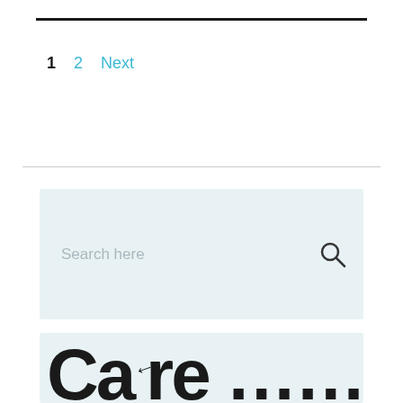1  2  Next
[Figure (screenshot): Search box with placeholder text 'Search here' and a search (magnifying glass) icon on the right, on a light blue-gray background]
[Figure (logo): Partial logo with large stylized letters on a light blue-gray background, text partially cut off at bottom of page]